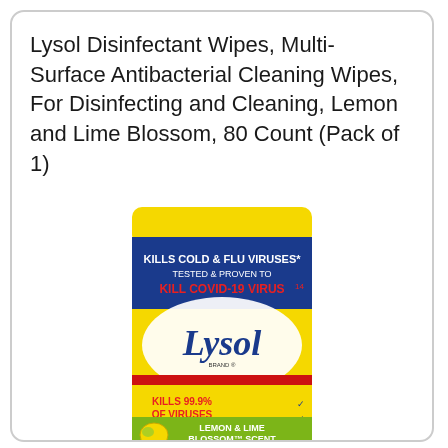Lysol Disinfectant Wipes, Multi-Surface Antibacterial Cleaning Wipes, For Disinfecting and Cleaning, Lemon and Lime Blossom, 80 Count (Pack of 1)
[Figure (photo): Lysol Disinfectant Wipes canister with yellow lid and yellow/blue label. Label text includes: KILLS COLD & FLU VIRUSES, TESTED & PROVEN TO KILL COVID-19 VIRUS^14, Lysol brand logo, KILLS 99.9% OF VIRUSES & BACTERIA, DISINFECTING WIPES, LEMON & LIME BLOSSOM SCENT, 80 Wet Wipes.]